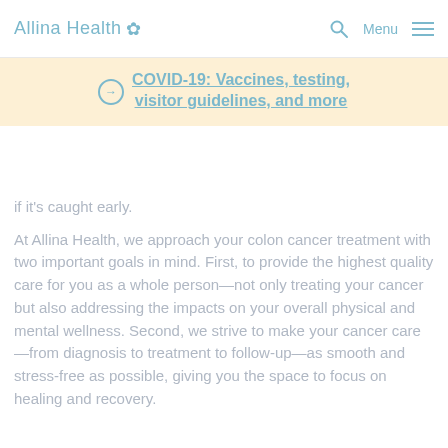Allina Health [logo] [search] Menu
COVID-19: Vaccines, testing, visitor guidelines, and more
if it's caught early.
At Allina Health, we approach your colon cancer treatment with two important goals in mind. First, to provide the highest quality care for you as a whole person—not only treating your cancer but also addressing the impacts on your overall physical and mental wellness. Second, we strive to make your cancer care —from diagnosis to treatment to follow-up—as smooth and stress-free as possible, giving you the space to focus on healing and recovery.